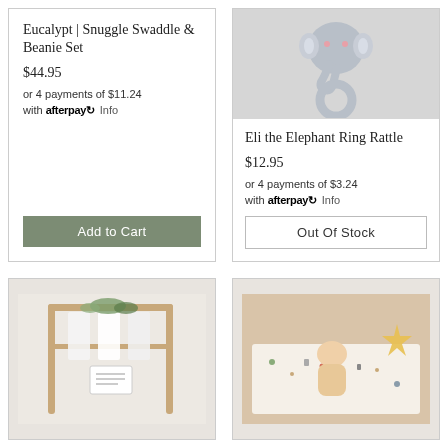Eucalypt | Snuggle Swaddle & Beanie Set
$44.95
or 4 payments of $11.24 with afterpay Info
Add to Cart
[Figure (photo): Knitted grey elephant ring rattle toy]
Eli the Elephant Ring Rattle
$12.95
or 4 payments of $3.24 with afterpay Info
Out Of Stock
[Figure (photo): Wooden clothing rack with white garments and greenery, small sign below]
[Figure (photo): Baby lying on patterned blanket with plush toy]